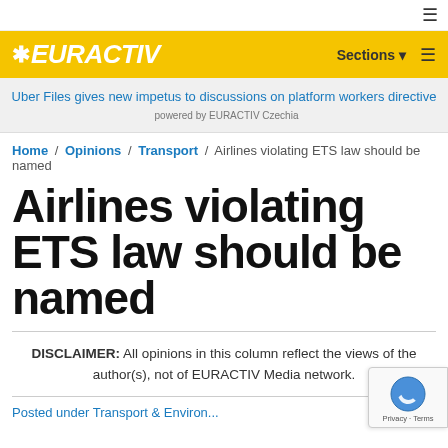≡
[Figure (logo): EURACTIV logo on yellow banner with Sections and hamburger menu]
Uber Files gives new impetus to discussions on platform workers directive powered by EURACTIV Czechia
Home / Opinions / Transport / Airlines violating ETS law should be named
Airlines violating ETS law should be named
DISCLAIMER: All opinions in this column reflect the views of the author(s), not of EURACTIV Media network.
Posted under Transport & Environment...